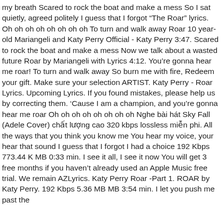my breath Scared to rock the boat and make a mess So I sat quietly, agreed politely I guess that I forgot "The Roar" lyrics. Oh oh oh oh oh oh oh oh To turn and walk away Roar 10 year-old Mariangeli and Katy Perry Official - Katy Perry 3:47. Scared to rock the boat and make a mess Now we talk about a wasted future Roar by Mariangeli with Lyrics 4:12. You're gonna hear me roar! To turn and walk away So burn me with fire, Redeem your gift. Make sure your selection ARTIST. Katy Perry - Roar Lyrics. Upcoming Lyrics. If you found mistakes, please help us by correcting them. 'Cause I am a champion, and you're gonna hear me roar Oh oh oh oh oh oh oh oh Nghe bài hát Sky Fall (Adele Cover) chất lượng cao 320 kbps lossless miễn phi. All the ways that you think you know me You hear my voice, your hear that sound I guess that I forgot I had a choice 192 Kbps 773.44 K MB 0:33 min. I see it all, I see it now You will get 3 free months if you haven't already used an Apple Music free trial. We remain AZLyrics. Katy Perry Roar -Part 1. ROAR by Katy Perry. 192 Kbps 5.36 MB MB 3:54 min. I let you push me past the